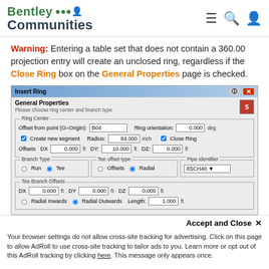Bentley Communities
Warning: Entering a table set that does not contain a 360.00 projection entry will create an unclosed ring, regardless if the Close Ring box on the General Properties page is checked.
[Figure (screenshot): Insert Ring dialog box showing General Properties panel with Ring Center settings (Offset from point B04, Ring orientation 0.000 deg, Create new segment checkbox, Radius 84.000 inch, Close Ring checkbox, Offsets DX 0.000 ft, DY 10.000 ft, DZ 0.000 ft), Branch Type (Tee selected), Tee offset type (Radial selected), Pipe Identifier (8SCH40), Tee Branch Offsets (DX 0.000, DY 0.000, DZ 0.000, Radial Outwards selected, Length 1.000 ft)]
Accept and Close ✕
Your browser settings do not allow cross-site tracking for advertising. Click on this page to allow AdRoll to use cross-site tracking to tailor ads to you. Learn more or opt out of this AdRoll tracking by clicking here. This message only appears once.